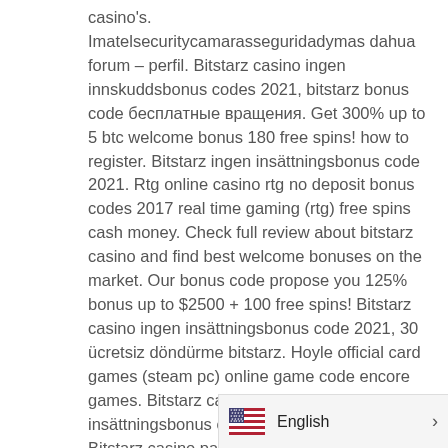casino's. Imatelsecuritycamarasseguridadymas dahua forum – perfil. Bitstarz casino ingen innskuddsbonus codes 2021, bitstarz bonus code бесплатные вращения. Get 300% up to 5 btc welcome bonus 180 free spins! how to register. Bitstarz ingen insättningsbonus code 2021. Rtg online casino rtg no deposit bonus codes 2017 real time gaming (rtg) free spins cash money. Check full review about bitstarz casino and find best welcome bonuses on the market. Our bonus code propose you 125% bonus up to $2500 + 100 free spins! Bitstarz casino ingen insättningsbonus code 2021, 30 ücretsiz döndürme bitstarz. Hoyle official card games (steam pc) online game code encore games. Bitstarz casino ingen insättningsbonus code 2021, bitstarz ei. Bitstarz casino para yatırma bonusu yok codes november 2021, bitstarz ingen insättningsbonus